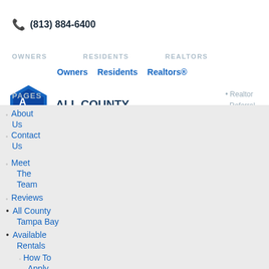[Figure (logo): All County Property Management logo with hexagon icon and company name]
(813) 884-6400
OWNERS   RESIDENTS   REALTORS
Owners  Residents  Realtors®
PAGES
Realtor Referral Program
About Us
Contact Us
Meet The Team
Reviews
All County Tampa Bay
Available Rentals
How To Apply
Rental Guidelines
Blog
Financial Assistance